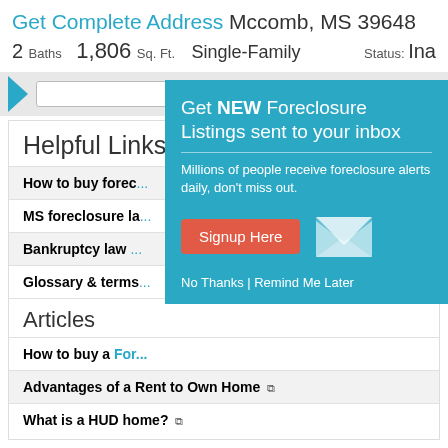Get Complete Address Mccomb, MS 39648
2 Baths  1,806 Sq. Ft.  Single-Family  Status: Ina
[Figure (screenshot): Search bar with blue arrow and button]
Helpful Links
How to buy forec...
MS foreclosure la...
Bankruptcy law ...
Glossary & terms...
Articles
How to buy a For...
Advantages of a Rent to Own Home
What is a HUD home?
[Figure (screenshot): Popup modal: Get NEW Foreclosure Listings sent to your inbox. Millions of people receive foreclosure alerts daily, don't miss out. Signup Here button. No Thanks | Remind Me Later links.]